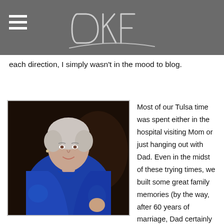DKF (logo/header)
each direction, I simply wasn't in the mood to blog.
[Figure (photo): Elderly woman with short white hair wearing a royal blue satin jacket, posed at what appears to be a formal event with dark background.]
Most of our Tulsa time was spent either in the hospital visiting Mom or just hanging out with Dad. Even in the midst of these trying times, we built some great family memories (by the way, after 60 years of marriage, Dad certainly misses Mom but overall he's doing pretty well).